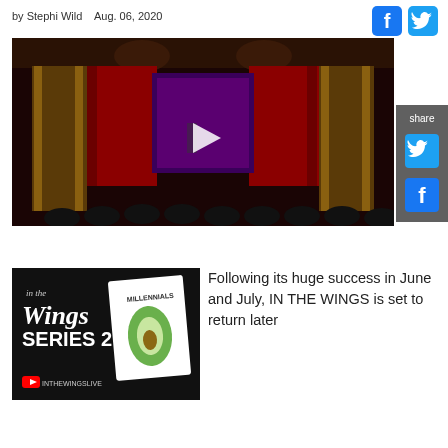by Stephi Wild   Aug. 06, 2020
[Figure (photo): Theatre stage with red curtains and audience silhouettes, video play button overlay]
[Figure (other): Share sidebar with Twitter and Facebook icons]
[Figure (photo): In The Wings Series 2 promotional image with Millennials avocado graphic]
Following its huge success in June and July, IN THE WINGS is set to return later